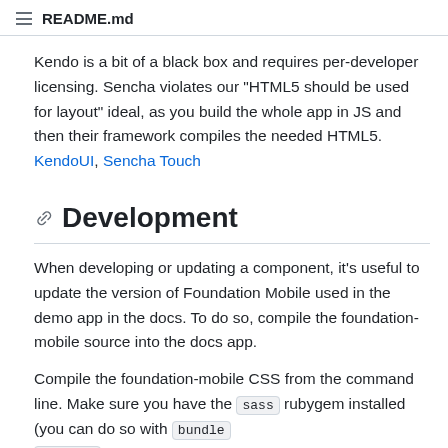README.md
Kendo is a bit of a black box and requires per-developer licensing. Sencha violates our "HTML5 should be used for layout" ideal, as you build the whole app in JS and then their framework compiles the needed HTML5. KendoUI, Sencha Touch
Development
When developing or updating a component, it's useful to update the version of Foundation Mobile used in the demo app in the docs. To do so, compile the foundation-mobile source into the docs app.
Compile the foundation-mobile CSS from the command line. Make sure you have the sass rubygem installed (you can do so with bundle install).